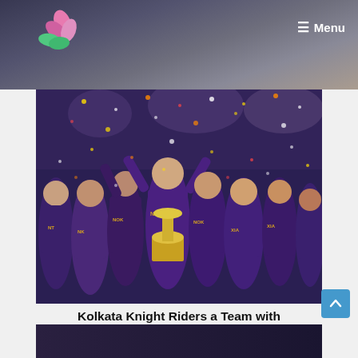Menu
[Figure (photo): Kolkata Knight Riders cricket team celebrating with trophy, players wearing purple Nokia-sponsored jerseys, confetti in background]
Kolkata Knight Riders a Team with Extraordinary Faces
September 17, 2020